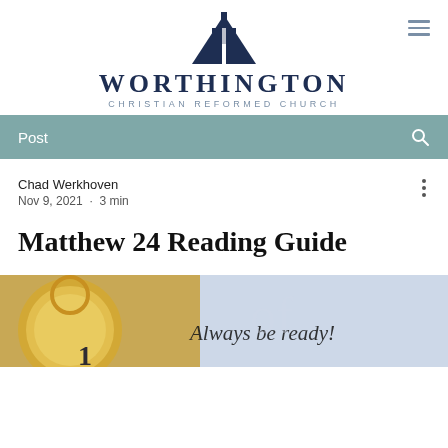[Figure (logo): Worthington Christian Reformed Church logo with navy blue church/cross icon above the church name]
Post
Chad Werkhoven
Nov 9, 2021 · 3 min
Matthew 24 Reading Guide
[Figure (photo): Photo of a compass/clock with overlay text 'Always be ready!']